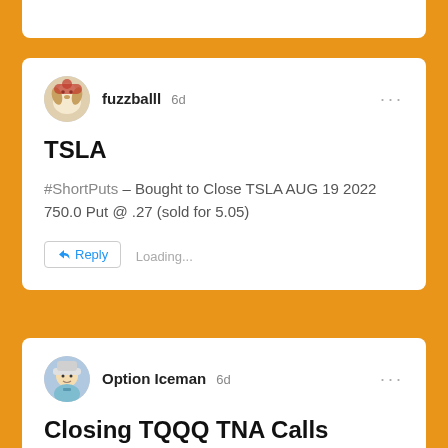fuzzballl 6d
TSLA
#ShortPuts – Bought to Close TSLA AUG 19 2022 750.0 Put @ .27 (sold for 5.05)
Reply Loading...
Option Iceman 6d
Closing TQQQ TNA Calls